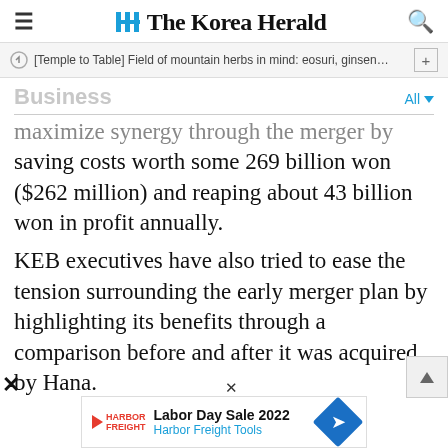The Korea Herald
[Temple to Table] Field of mountain herbs in mind: eosuri, ginsen…
Business
maximize synergy through the merger by saving costs worth some 269 billion won ($262 million) and reaping about 43 billion won in profit annually.
KEB executives have also tried to ease the tension surrounding the early merger plan by highlighting its benefits through a comparison before and after it was acquired by Hana.
[Figure (screenshot): Harbor Freight Labor Day Sale 2022 advertisement banner at bottom of page]